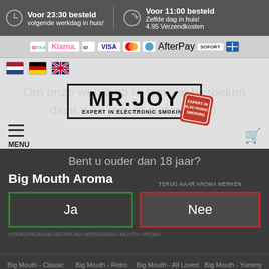Voor 23:30 besteld volgende werkdag in huis! | Voor 11:00 besteld Zelfde dag in huis! 4.95 Verzendkosten
[Figure (other): Payment method logos: iDEAL, Klarna, iDEAL2, VISA, Mastercard, Maestro, AfterPay, SOFORT, bank transfer]
[Figure (other): Navigation flags: Dutch, German, UK flag icons]
[Figure (logo): MR.JOY logo - Expert in Electronic Smoking, with red stamp badge]
Om onze webshop te kunnen bezoeken dient u 18 jaar of ouder te zijn.
Bent u ouder dan 18 jaar?
Big Mouth Aroma
Ja
TERUG NAAR AROMA MERKEN
Nee
HOME/AROMA/BASE/AROMA MERKEN/BIG MOUTH AROMA
Big Mouth - Classic   Big Mouth - Retro Juice   Big Mouth - All Loved Up   Big Mouth - Yummy